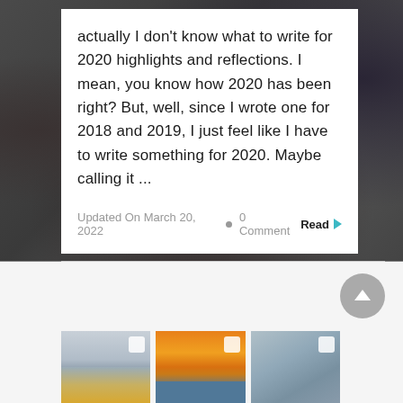actually I don't know what to write for 2020 highlights and reflections. I mean, you know how 2020 has been right? But, well, since I wrote one for 2018 and 2019, I just feel like I have to write something for 2020. Maybe calling it ...
Updated On March 20, 2022 • 0 Comment Read ▶
[Figure (photo): Three thumbnail photos side by side: a cityscape/bridge scene, a sunset over water with a silhouetted figure, and a winter tree with red berries.]